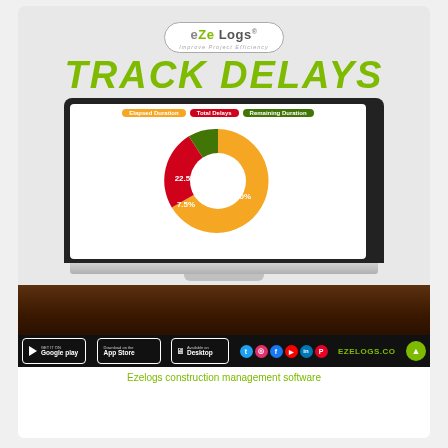[Figure (logo): eZe Logs logo with tagline 'Improve Project Efficiency']
TRACK DELAYS
[Figure (donut-chart): Track Delays Donut Chart]
[Figure (infographic): Laptop on wooden table showing donut chart with app store badges and social icons]
Ezelogs construction management software